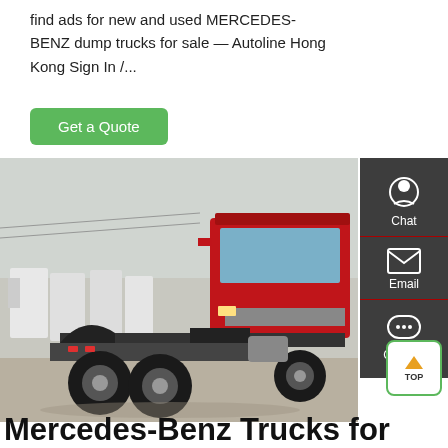find ads for new and used MERCEDES-BENZ dump trucks for sale — Autoline Hong Kong Sign In /...
Get a Quote
[Figure (photo): Photo of a large red truck (tractor unit) viewed from rear-left angle, parked in a yard with many white trucks in background, overcast sky]
[Figure (infographic): Sidebar with Chat, Email, Contact icons on dark grey background]
Mercedes-Benz Trucks for